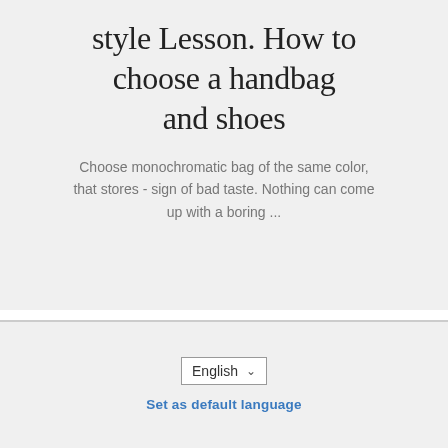style Lesson. How to choose a handbag and shoes
Choose monochromatic bag of the same color, that stores - sign of bad taste. Nothing can come up with a boring ...
[Figure (screenshot): Language selector dropdown showing 'English' with a chevron arrow]
Set as default language